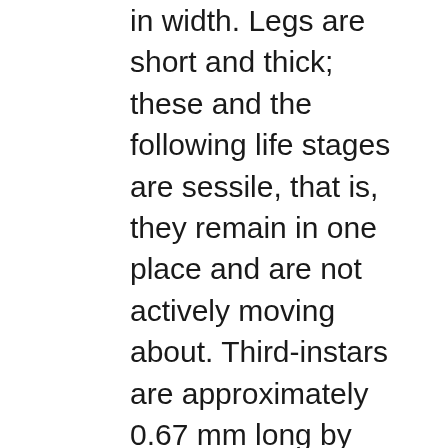in width. Legs are short and thick; these and the following life stages are sessile, that is, they remain in one place and are not actively moving about. Third-instars are approximately 0.67 mm long by 0.43 mm wide, and fourth-instars 0.74 mm by 0.47 mm. Sexuparae: First instars similar in appearance to those of the sistens and progrediens first instars. Second instars and older nymphs are measurably larger than those of the other generations, but are still very small (about one mm long).